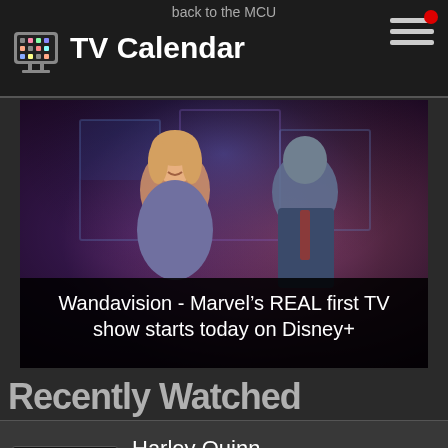TV Calendar
back to the MCU
[Figure (photo): Promotional image of two people (Wanda and Vision) in colorful retro style setting for the Disney+ show WandaVision]
Wandavision - Marvel's REAL first TV show starts today on Disney+
Recently Watched
Harley Quinn — 12 seconds ago — S03E08 : Batman Begins Forever
She-Hulk: Attorney at Law — 25 seconds ago — S01E03 : The People vs. Emil Blonsky
She-Hulk: Attorney at Law (partial, bottom cut off)